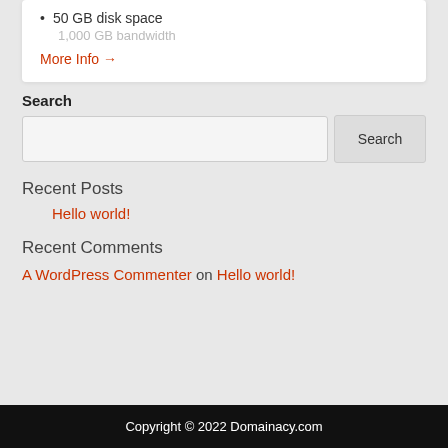50 GB disk space
More Info →
Search
Recent Posts
Hello world!
Recent Comments
A WordPress Commenter on Hello world!
Copyright © 2022 Domainacy.com